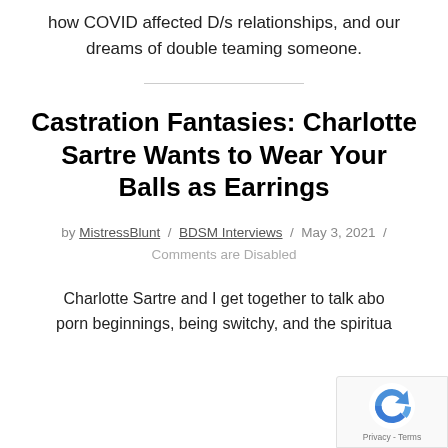how COVID affected D/s relationships, and our dreams of double teaming someone.
Castration Fantasies: Charlotte Sartre Wants to Wear Your Balls as Earrings
by MistressBlunt / BDSM Interviews / May 3, 2021 / Comments are Disabled
Charlotte Sartre and I get together to talk abo... porn beginnings, being switchy, and the spiritua...